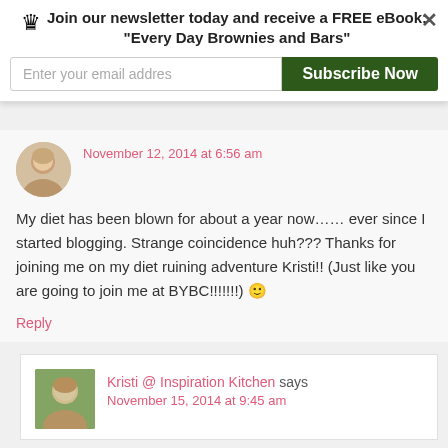Join our newsletter today and receive a FREE eBook: "Every Day Brownies and Bars"
Enter your email addres
Subscribe Now
November 12, 2014 at 6:56 am
My diet has been blown for about a year now…… ever since I started blogging. Strange coincidence huh??? Thanks for joining me on my diet ruining adventure Kristi!! (Just like you are going to join me at BYBC!!!!!!!) 🙂
Reply
Kristi @ Inspiration Kitchen says
November 15, 2014 at 9:45 am